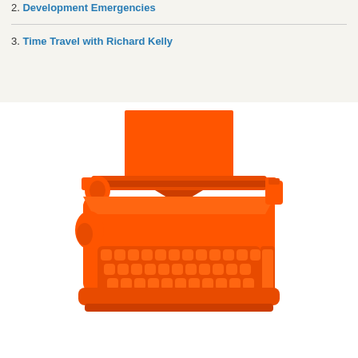2. Development Emergencies
3. Time Travel with Richard Kelly
[Figure (illustration): Orange/red vintage typewriter illustration with paper inserted, shown from a slightly elevated front angle. The typewriter is entirely rendered in a flat orange-red color with darker red accents for the paper guide and roller bar.]